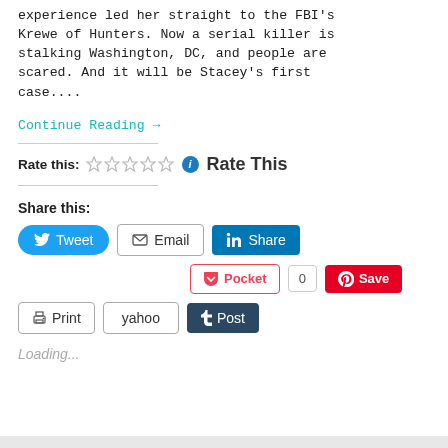experience led her straight to the FBI's Krewe of Hunters. Now a serial killer is stalking Washington, DC, and people are scared. And it will be Stacey's first case....
Continue Reading →
Rate this: ☆☆☆☆☆ ℹ Rate This
Share this:
Tweet | Email | Share | Pocket | 0 | Save | Print | yahoo | Post
Loading...